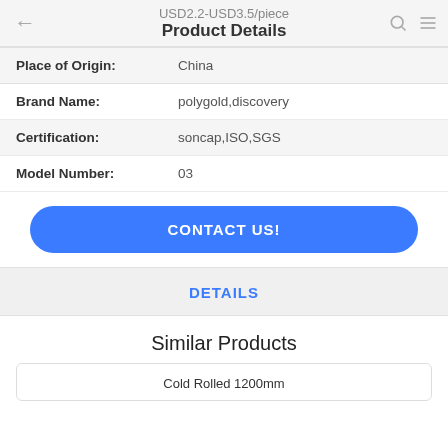USD2.2-USD3.5/piece
Product Details
| Field | Value |
| --- | --- |
| Place of Origin: | China |
| Brand Name: | polygold,discovery |
| Certification: | soncap,ISO,SGS |
| Model Number: | 03 |
CONTACT US!
DETAILS
Similar Products
Cold Rolled 1200mm